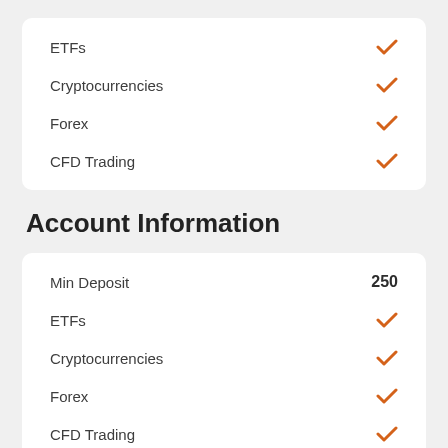|  |  |
| --- | --- |
| ETFs | ✓ |
| Cryptocurrencies | ✓ |
| Forex | ✓ |
| CFD Trading | ✓ |
Account Information
|  |  |
| --- | --- |
| Min Deposit | 250 |
| ETFs | ✓ |
| Cryptocurrencies | ✓ |
| Forex | ✓ |
| CFD Trading | ✓ |